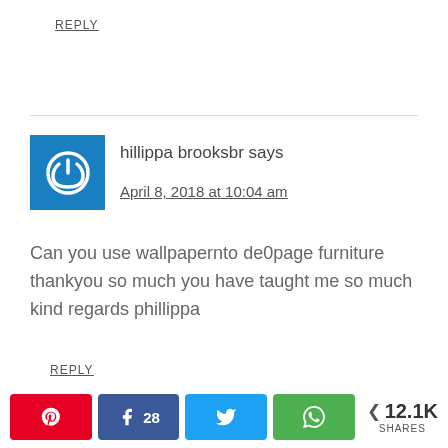REPLY
hillippa brooksbr says
April 8, 2018 at 10:04 am
Can you use wallpapernto de0page furniture thankyou so much you have taught me so much kind regards phillippa
REPLY
28   12.1K SHARES